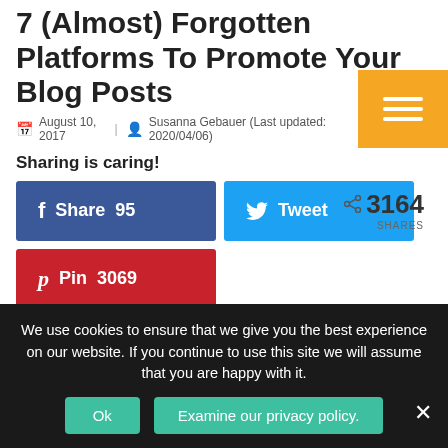7 (Almost) Forgotten Platforms To Promote Your Blog Posts
August 10, 2017 | Susanna Gebauer (Last updated: 2020/04/06)
Sharing is caring!
[Figure (other): Social sharing buttons: Facebook Share 95, Tweet, Pin 3069, and 3164 SHARES count]
When you think about promoting your blog posts the first thoughts usually go to the big social media platforms: Facebook, Twitter, Instagram. Many
We use cookies to ensure that we give you the best experience on our website. If you continue to use this site we will assume that you are happy with it.